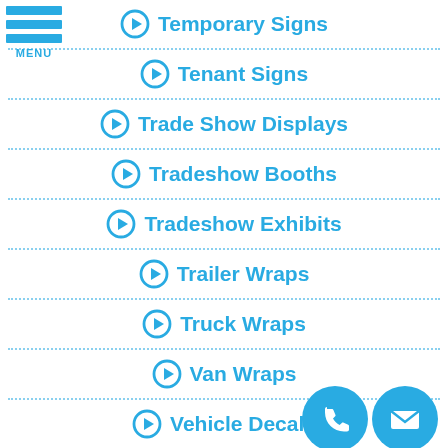[Figure (logo): Hamburger menu icon with three blue horizontal bars and MENU text below]
Temporary Signs
Tenant Signs
Trade Show Displays
Tradeshow Booths
Tradeshow Exhibits
Trailer Wraps
Truck Wraps
Van Wraps
Vehicle Decals